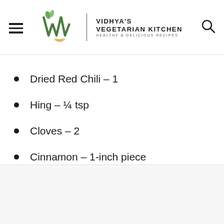Vidhya's Vegetarian Kitchen – Healthy & Delicious Recipes
Dried Red Chili – 1
Hing – ¼ tsp
Cloves – 2
Cinnamon – 1-inch piece
Sugar – 2 tsp
Salt – 1 tsp
Cilantro – a handful